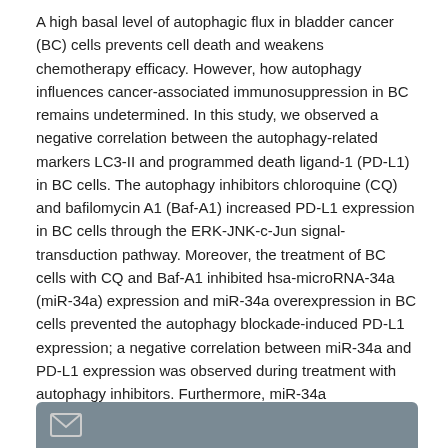A high basal level of autophagic flux in bladder cancer (BC) cells prevents cell death and weakens chemotherapy efficacy. However, how autophagy influences cancer-associated immunosuppression in BC remains undetermined. In this study, we observed a negative correlation between the autophagy-related markers LC3-II and programmed death ligand-1 (PD-L1) in BC cells. The autophagy inhibitors chloroquine (CQ) and bafilomycin A1 (Baf-A1) increased PD-L1 expression in BC cells through the ERK-JNK-c-Jun signal-transduction pathway. Moreover, the treatment of BC cells with CQ and Baf-A1 inhibited hsa-microRNA-34a (miR-34a) expression and miR-34a overexpression in BC cells prevented the autophagy blockade-induced PD-L1 expression; a negative correlation between miR-34a and PD-L1 expression was observed during treatment with autophagy inhibitors. Furthermore, miR-34a overexpression induced the cytotoxic activity of natural killer cells against BC cells. Our results provide evidence that autophagy blockade and its regulatory pathway affect cancer-associated immunosuppression through PD-L1 elevation. Thus, the coadministration of autophagy inhibitors and a PD-L1 immune checkpoint blockade provides a potential therapeutic approach for treating BC.
[Figure (other): Partial view of a grey footer bar with an envelope icon, suggesting a contact or email section at the bottom of the page.]